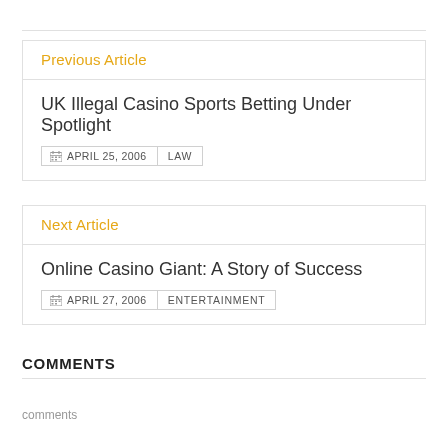Previous Article
UK Illegal Casino Sports Betting Under Spotlight
APRIL 25, 2006   LAW
Next Article
Online Casino Giant: A Story of Success
APRIL 27, 2006   ENTERTAINMENT
COMMENTS
comments